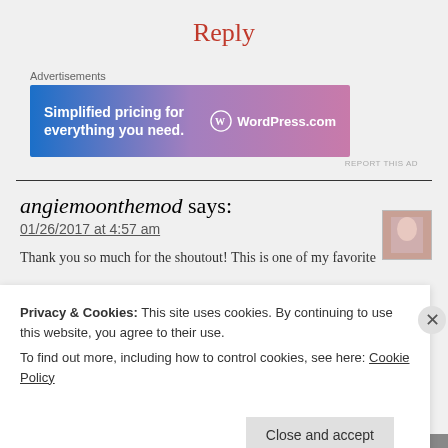Reply
Advertisements
[Figure (illustration): WordPress.com advertisement banner: 'Simplified pricing for everything you need.' with WordPress.com logo on gradient blue-purple background]
REPORT THIS AD
angiemoonthemod says:
01/26/2017 at 4:57 am
Thank you so much for the shoutout! This is one of my favorite...
Privacy & Cookies: This site uses cookies. By continuing to use this website, you agree to their use.
To find out more, including how to control cookies, see here: Cookie Policy
Close and accept